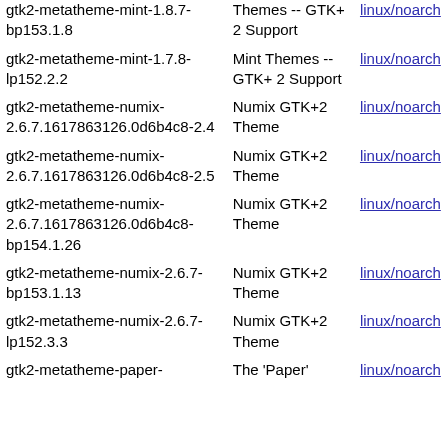| gtk2-metatheme-mint-1.8.7-bp153.1.8 | Themes -- GTK+ 2 Support | linux/noarch |
| gtk2-metatheme-mint-1.7.8-lp152.2.2 | Mint Themes -- GTK+ 2 Support | linux/noarch |
| gtk2-metatheme-numix-2.6.7.1617863126.0d6b4c8-2.4 | Numix GTK+2 Theme | linux/noarch |
| gtk2-metatheme-numix-2.6.7.1617863126.0d6b4c8-2.5 | Numix GTK+2 Theme | linux/noarch |
| gtk2-metatheme-numix-2.6.7.1617863126.0d6b4c8-bp154.1.26 | Numix GTK+2 Theme | linux/noarch |
| gtk2-metatheme-numix-2.6.7-bp153.1.13 | Numix GTK+2 Theme | linux/noarch |
| gtk2-metatheme-numix-2.6.7-lp152.3.3 | Numix GTK+2 Theme | linux/noarch |
| gtk2-metatheme-paper- | The 'Paper' | linux/noarch |